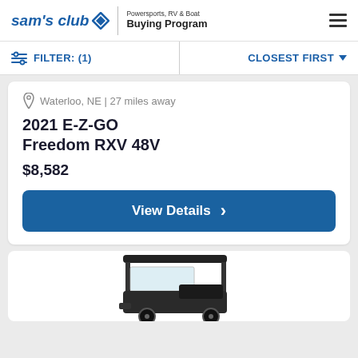sam's club — Powersports, RV & Boat Buying Program
FILTER: (1)   CLOSEST FIRST
Waterloo, NE | 27 miles away
2021 E-Z-GO Freedom RXV 48V
$8,582
View Details
[Figure (photo): Partial image of a golf cart (E-Z-GO Freedom RXV) with black canopy top, visible from the front/side, cut off at the bottom of the page.]